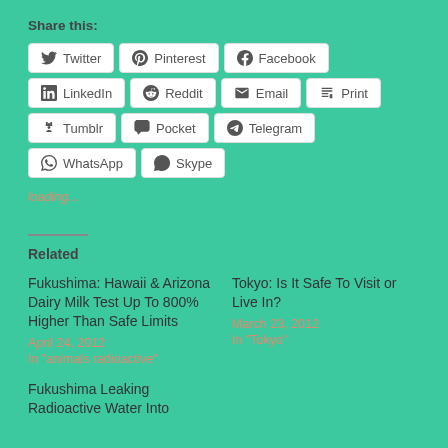Share this:
[Figure (other): Social media share buttons: Twitter, Pinterest, Facebook, LinkedIn, Reddit, Email, Print, Tumblr, Pocket, Telegram, WhatsApp, Skype]
loading...
Related
Fukushima: Hawaii & Arizona Dairy Milk Test Up To 800% Higher Than Safe Limits
April 24, 2012
In "animals radioactive"
Tokyo: Is It Safe To Visit or Live In?
March 23, 2012
In "Tokyo"
Fukushima Leaking Radioactive Water Into